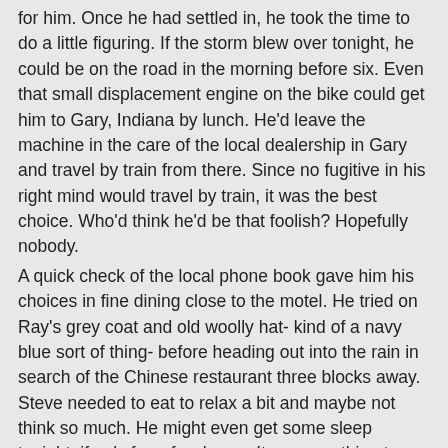for him. Once he had settled in, he took the time to do a little figuring. If the storm blew over tonight, he could be on the road in the morning before six. Even that small displacement engine on the bike could get him to Gary, Indiana by lunch. He'd leave the machine in the care of the local dealership in Gary and travel by train from there. Since no fugitive in his right mind would travel by train, it was the best choice. Who'd think he'd be that foolish? Hopefully nobody. A quick check of the local phone book gave him his choices in fine dining close to the motel. He tried on Ray's grey coat and old woolly hat- kind of a navy blue sort of thing- before heading out into the rain in search of the Chinese restaurant three blocks away. Steve needed to eat to relax a bit and maybe not think so much. He might even get some sleep tonight, if only for a few hours. It was one thing to formulate a basic plan, and quite another to think the whole thing through to the smallest finite detail in the last five minutes. He needed to eat and give the ol' brain a rest. And call his lawyer. The poor guy was probably going nuts trying to figure out what was happening- and where Steve was. Dinner, phone call, motel, sleep. That's all the plan Steve needed for now. He found the restaurant and went inside. The decor was all red, black and gold. What a surprise. Let's all play